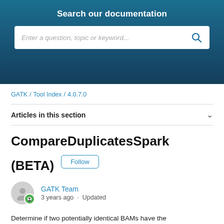Search our documentation
Enter a question, topic or keyword...
GATK / Tool Index / 4.0.7.0
Articles in this section
CompareDuplicatesSpark (BETA)
GATK Team
3 years ago · Updated
Determine if two potentially identical BAMs have the